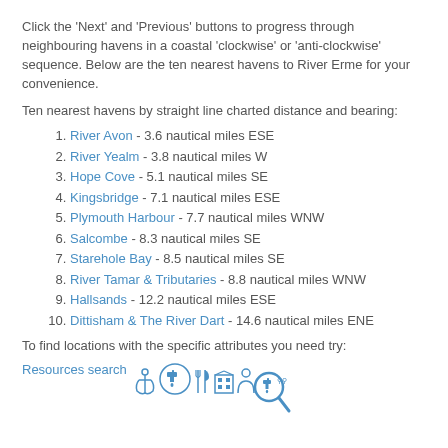Click the 'Next' and 'Previous' buttons to progress through neighbouring havens in a coastal 'clockwise' or 'anti-clockwise' sequence. Below are the ten nearest havens to River Erme for your convenience.
Ten nearest havens by straight line charted distance and bearing:
River Avon - 3.6 nautical miles ESE
River Yealm - 3.8 nautical miles W
Hope Cove - 5.1 nautical miles SE
Kingsbridge - 7.1 nautical miles ESE
Plymouth Harbour - 7.7 nautical miles WNW
Salcombe - 8.3 nautical miles SE
Starehole Bay - 8.5 nautical miles SE
River Tamar & Tributaries - 8.8 nautical miles WNW
Hallsands - 12.2 nautical miles ESE
Dittisham & The River Dart - 14.6 nautical miles ENE
To find locations with the specific attributes you need try:
[Figure (infographic): Resources search link with anchor, tap, cutlery, building and person icons followed by a magnifying glass icon]